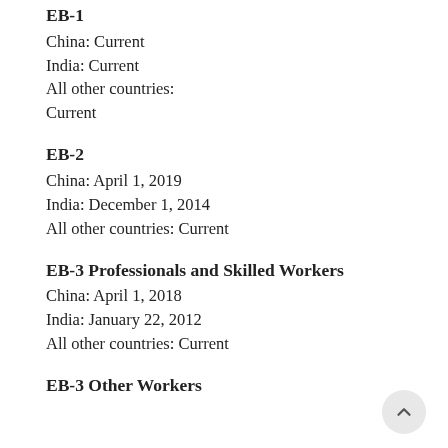EB-1
China: Current
India: Current
All other countries:
Current
EB-2
China: April 1, 2019
India: December 1, 2014
All other countries: Current
EB-3 Professionals and Skilled Workers
China: April 1, 2018
India: January 22, 2012
All other countries: Current
EB-3 Other Workers